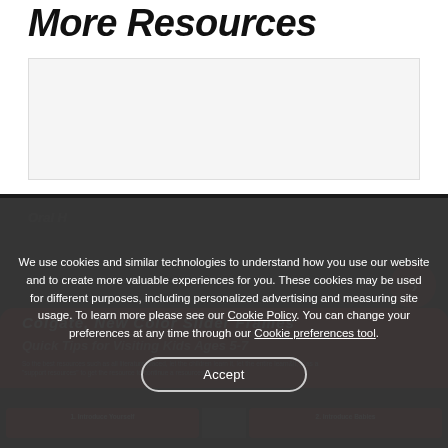More Resources
[Figure (screenshot): Placeholder card area for resource content]
Oral Health...
[Figure (screenshot): Colgate resource slide showing Quick Tips for Visiting Kids Ages 5-7 with red background and navigation arrows]
We use cookies and similar technologies to understand how you use our website and to create more valuable experiences for you. These cookies may be used for different purposes, including personalized advertising and measuring site usage. To learn more please see our Cookie Policy. You can change your preferences at any time through our Cookie preferences tool.
Accept